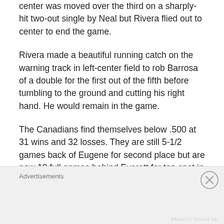center was moved over the third on a sharply-hit two-out single by Neal but Rivera flied out to center to end the game.
Rivera made a beautiful running catch on the warning track in left-center field to rob Barrosa of a double for the first out of the fifth before tumbling to the ground and cutting his right hand. He would remain in the game.
The Canadians find themselves below .500 at 31 wins and 32 losses. They are still 5-1/2 games back of Eugene for second place but are now 10 full games behind Everett for top spot in the
Advertisements